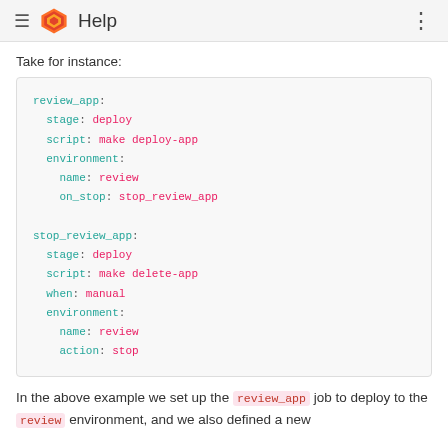≡  Help  ⋮
Take for instance:
[Figure (screenshot): Code block showing YAML configuration for review_app and stop_review_app jobs with environment, stage, script, when, and action keys]
In the above example we set up the review_app job to deploy to the review environment, and we also defined a new